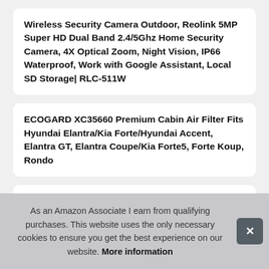Wireless Security Camera Outdoor, Reolink 5MP Super HD Dual Band 2.4/5Ghz Home Security Camera, 4X Optical Zoom, Night Vision, IP66 Waterproof, Work with Google Assistant, Local SD Storage| RLC-511W
ECOGARD XC35660 Premium Cabin Air Filter Fits Hyundai Elantra/Kia Forte/Hyundai Accent, Elantra GT, Elantra Coupe/Kia Forte5, Forte Koup, Rondo
Top 10 Watch Bands Apple 44mm Series 5 – Smartwatch Bands
As an Amazon Associate I earn from qualifying purchases. This website uses the only necessary cookies to ensure you get the best experience on our website. More information